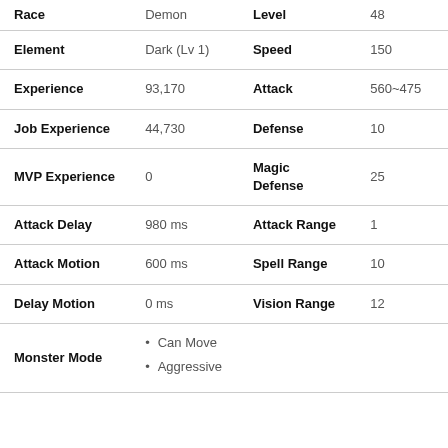| Race | Demon | Level | 48 |
| --- | --- | --- | --- |
| Element | Dark (Lv 1) | Speed | 150 |
| Experience | 93,170 | Attack | 560~475 |
| Job Experience | 44,730 | Defense | 10 |
| MVP Experience | 0 | Magic Defense | 25 |
| Attack Delay | 980 ms | Attack Range | 1 |
| Attack Motion | 600 ms | Spell Range | 10 |
| Delay Motion | 0 ms | Vision Range | 12 |
| Monster Mode | Can Move / Aggressive |  |  |